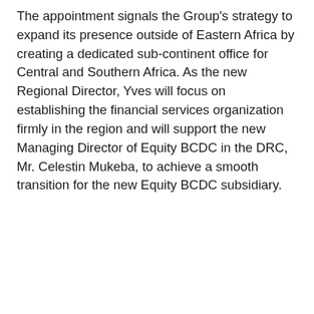The appointment signals the Group's strategy to expand its presence outside of Eastern Africa by creating a dedicated sub-continent office for Central and Southern Africa. As the new Regional Director, Yves will focus on establishing the financial services organization firmly in the region and will support the new Managing Director of Equity BCDC in the DRC, Mr. Celestin Mukeba, to achieve a smooth transition for the new Equity BCDC subsidiary.